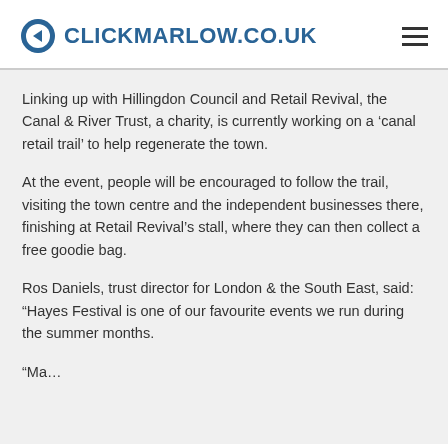CLICKMARLOW.CO.UK
Linking up with Hillingdon Council and Retail Revival, the Canal & River Trust, a charity, is currently working on a ‘canal retail trail’ to help regenerate the town.
At the event, people will be encouraged to follow the trail, visiting the town centre and the independent businesses there, finishing at Retail Revival’s stall, where they can then collect a free goodie bag.
Ros Daniels, trust director for London & the South East, said: “Hayes Festival is one of our favourite events we run during the summer months.
“Ma…